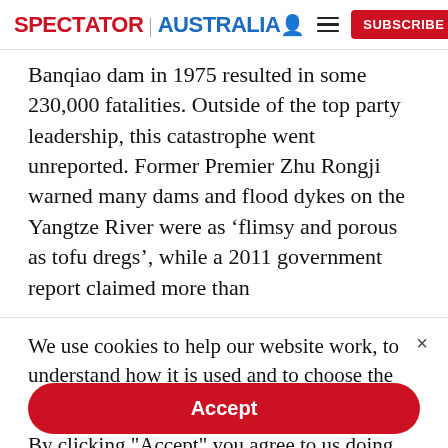SPECTATOR | AUSTRALIA [user icon] [menu icon] SUBSCRIBE
Banqiao dam in 1975 resulted in some 230,000 fatalities. Outside of the top party leadership, this catastrophe went unreported. Former Premier Zhu Rongji warned many dams and flood dykes on the Yangtze River were as ‘flimsy and porous as tofu dregs’, while a 2011 government report claimed more than
We use cookies to help our website work, to understand how it is used and to choose the adverts you are shown.
By clicking "Accept" you agree to us doing so. You can read more in our privacy policy.
Accept